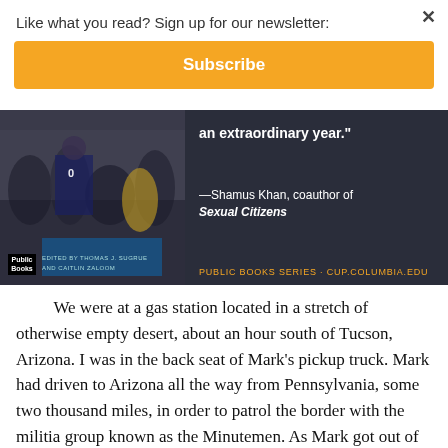Like what you read? Sign up for our newsletter:
Subscribe
[Figure (illustration): Advertisement banner for a Public Books publication. Left side shows crowd/sports photo with a book cover featuring 'EDITED BY THOMAS J. SUGRUE AND CAITLIN ZALOOM' and a Public Books logo. Right side on dark background shows quote: '...an extraordinary year.' —Shamus Khan, coauthor of Sexual Citizens. PUBLIC BOOKS SERIES · CUP.COLUMBIA.EDU]
We were at a gas station located in a stretch of otherwise empty desert, about an hour south of Tucson, Arizona. I was in the back seat of Mark's pickup truck. Mark had driven to Arizona all the way from Pennsylvania, some two thousand miles, in order to patrol the border with the militia group known as the Minutemen. As Mark got out of the car to pump gas, I was struck by the remarkable